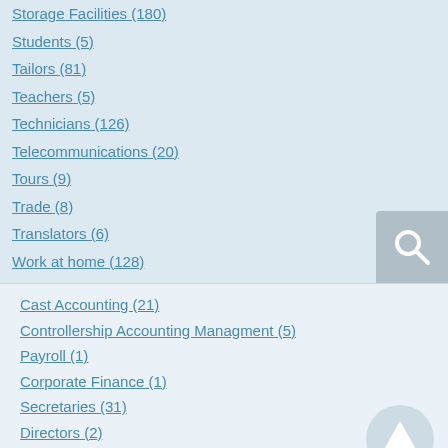Storage Facilities (180)
Students (5)
Tailors (81)
Teachers (5)
Technicians (126)
Telecommunications (20)
Tours (9)
Trade (8)
Translators (6)
Work at home (128)
Cast Accounting (21)
Controllership Accounting Managment (5)
Payroll (1)
Corporate Finance (1)
Secretaries (31)
Directors (2)
Management Personnel (22)